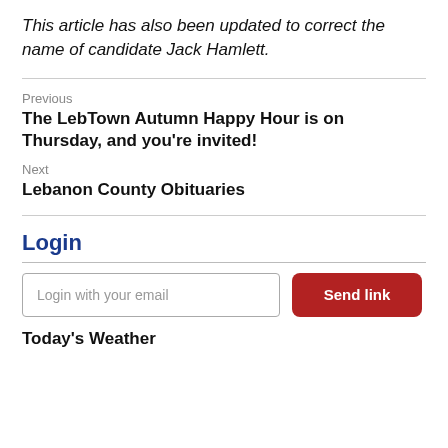This article has also been updated to correct the name of candidate Jack Hamlett.
Previous
The LebTown Autumn Happy Hour is on Thursday, and you're invited!
Next
Lebanon County Obituaries
Login
Login with your email
Send link
Today's Weather